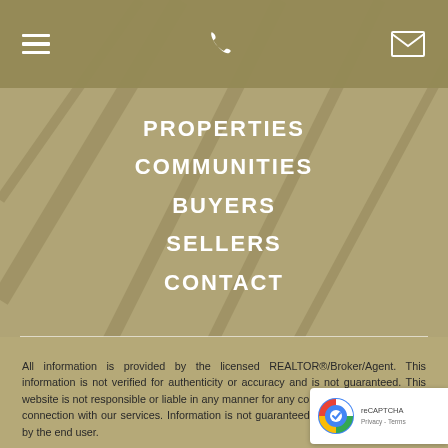[hamburger menu icon] [phone icon] [email icon]
PROPERTIES
COMMUNITIES
BUYERS
SELLERS
CONTACT
All information is provided by the licensed REALTOR®/Broker/Agent. This information is not verified for authenticity or accuracy and is not guaranteed. This website is not responsible or liable in any manner for any content posted herein or in connection with our services. Information is not guaranteed and must be confirmed by the end user.
Mercedes Roses Real Estate is committed to providing an accessible website. If you have difficulty accessing content, have difficulty viewing a file on the website, or notice any accessibility problems, please